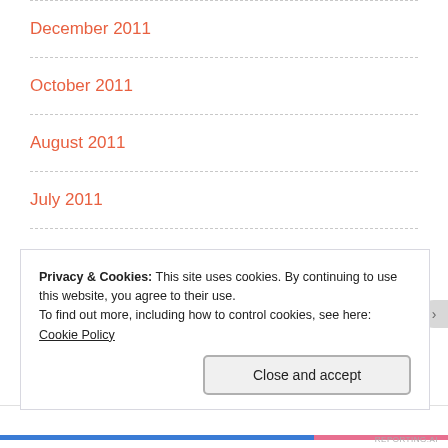December 2011
October 2011
August 2011
July 2011
June 2011
May 2011
April 2011
Privacy & Cookies: This site uses cookies. By continuing to use this website, you agree to their use.
To find out more, including how to control cookies, see here: Cookie Policy
Close and accept